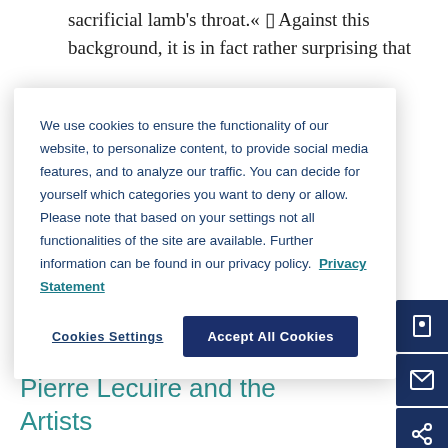sacrificial lamb's throat.« ▯ Against this background, it is in fact rather surprising that
We use cookies to ensure the functionality of our website, to personalize content, to provide social media features, and to analyze our traffic. You can decide for yourself which categories you want to deny or allow. Please note that based on your settings not all functionalities of the site are available. Further information can be found in our privacy policy. Privacy Statement
Cookies Settings
Accept All Cookies
E-Book ISBN:  9783846763452
Print Publication Date:  01 Jan 2018
Pierre Lecuire and the Artists
Author: Nigel Saint
the bird, the desert and the infusion of life by light